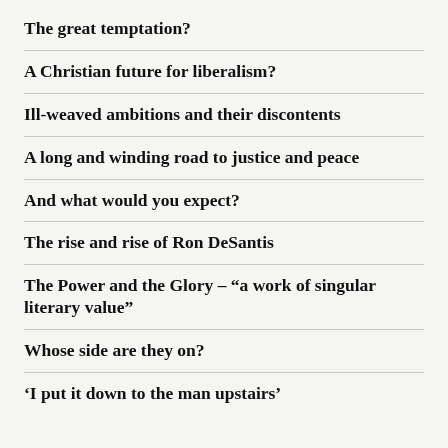The great temptation?
A Christian future for liberalism?
Ill-weaved ambitions and their discontents
A long and winding road to justice and peace
And what would you expect?
The rise and rise of Ron DeSantis
The Power and the Glory – “a work of singular literary value”
Whose side are they on?
‘I put it down to the man upstairs’